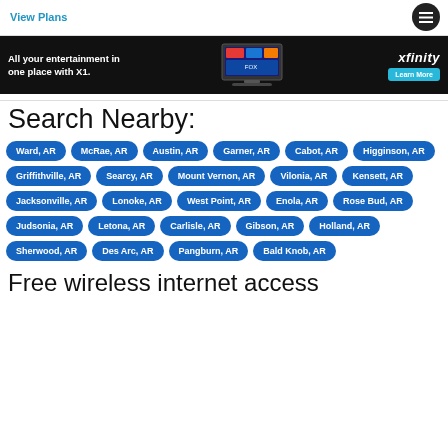View Plans
[Figure (screenshot): Xfinity advertisement banner: 'All your entertainment in one place with X1.' with TV image and Learn More button]
Search Nearby:
Ward, AR
McRae, AR
Austin, AR
Garner, AR
Cabot, AR
Higginson, AR
Griffithville, AR
Searcy, AR
Mount Vernon, AR
Vilonia, AR
Kensett, AR
Jacksonville, AR
Lonoke, AR
West Point, AR
Enola, AR
Rose Bud, AR
Judsonia, AR
Letona, AR
Carlisle, AR
Gibson, AR
Holland, AR
Sherwood, AR
Des Arc, AR
Pangburn, AR
Bald Knob, AR
Free wireless internet access